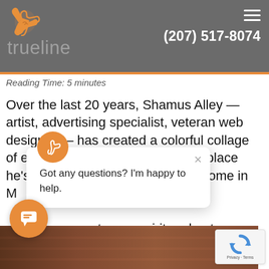trueline  (207) 517-8074
Reading Time: 5 minutes
Over the last 20 years, Shamus Alley — artist, advertising specialist, veteran web designer — has created a colorful collage of experiences, reflective of every place he's been. Leaving his childhood home in M... ...enturous spirit and gut i... ...own Portland, then to M...
Got any questions? I'm happy to help.
Read more »
[Figure (screenshot): Bottom image strip showing a person near a brick wall]
[Figure (logo): reCAPTCHA badge with Privacy and Terms links]